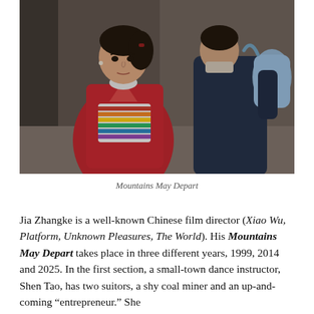[Figure (photo): Film still from Mountains May Depart showing a woman in a red coat and colorful striped sweater in the foreground, with a man in a dark jacket carrying a bag in the background, set in a narrow alleyway.]
Mountains May Depart
Jia Zhangke is a well-known Chinese film director (Xiao Wu, Platform, Unknown Pleasures, The World). His Mountains May Depart takes place in three different years, 1999, 2014 and 2025. In the first section, a small-town dance instructor, Shen Tao, has two suitors, a shy coal miner and an up-and-coming “entrepreneur.” She